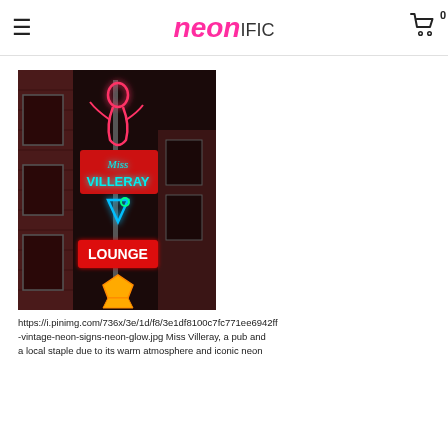neoniFIC (logo), hamburger menu, cart icon with badge 0
[Figure (photo): Nighttime photograph of the Miss Villeray Lounge neon sign mounted on a brick building facade. The vertical sign features a neon showgirl figure at top in pink/red, the text 'Miss VILLERAY' in teal/cyan neon, a martini glass in blue neon, 'LOUNGE' in red neon with white letters, and a yellow/orange star arrow at the bottom.]
https://i.pinimg.com/736x/3e/1d/f8/3e1df8100c7fc771ee6942ff -vintage-neon-signs-neon-glow.jpg Miss Villeray, a pub and a local staple due to its warm atmosphere and iconic neon